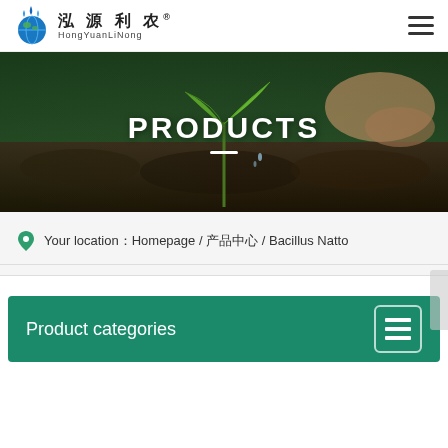[Figure (logo): HongYuanLiNong company logo with water drop icon and Chinese characters 泓源利农]
[Figure (photo): Hero banner photograph showing a hand holding a green seedling growing from soil, with overlaid text PRODUCTS and a white horizontal line beneath]
Your location： Homepage / 产品中心 / Bacillus Natto
Product categories